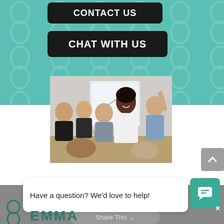[Figure (screenshot): Teal patterned background with decorative X/figure-8 pattern overlay]
CONTACT US
CHAT WITH US
[Figure (photo): Business meeting with diverse group of professionals around a table; a Black woman in white blazer stands and presents, others seated and engaged]
[Figure (other): Gray scroll-to-top arrow button]
Have a question? We'd love to help!
[Figure (logo): EMMA logo with teal chat icon button and decorative symbol]
Share This
×